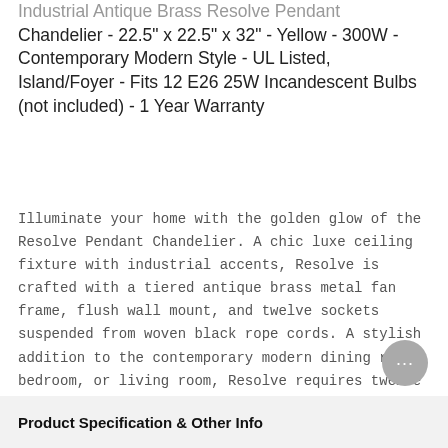Industrial Antique Brass Resolve Pendant Chandelier - 22.5" x 22.5" x 32" - Yellow - 300W - Contemporary Modern Style - UL Listed, Island/Foyer - Fits 12 E26 25W Incandescent Bulbs (not included) - 1 Year Warranty
Illuminate your home with the golden glow of the Resolve Pendant Chandelier. A chic luxe ceiling fixture with industrial accents, Resolve is crafted with a tiered antique brass metal fan frame, flush wall mount, and twelve sockets suspended from woven black rope cords. A stylish addition to the contemporary modern dining room, bedroom, or living room, Resolve requires twelve E26 25-watt bulbs (not included). Set Includes: One - Resolve Antique Brass Ceiling Light Pendant Chandelier
Product Specification & Other Info